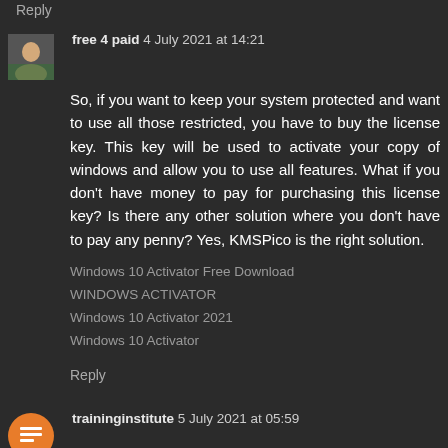Reply
free 4 paid  4 July 2021 at 14:21
So, if you want to keep your system protected and want to use all those restricted, you have to buy the license key. This key will be used to activate your copy of windows and allow you to use all features. What if you don't have money to pay for purchasing this license key? Is there any other solution where you don't have to pay any penny? Yes, KMSPico is the right solution.
Windows 10 Activator Free Download
WINDOWS ACTIVATOR
Windows 10 Activator 2021
Windows 10 Activator
Reply
traininginstitute  5 July 2021 at 05:59
Great tips and very easy to understand. This will definitely be very useful for me when I get a chance to start my blog.
Best Data Science courses in Hyderabad